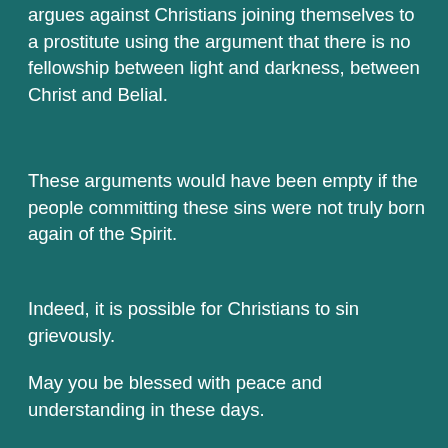argues against Christians joining themselves to a prostitute using the argument that there is no fellowship between light and darkness, between Christ and Belial.
These arguments would have been empty if the people committing these sins were not truly born again of the Spirit.
Indeed, it is possible for Christians to sin grievously.
May you be blessed with peace and understanding in these days.
Reply
Unknown on July 31, 2013 at 1:26 pm
I would agree that true born again people